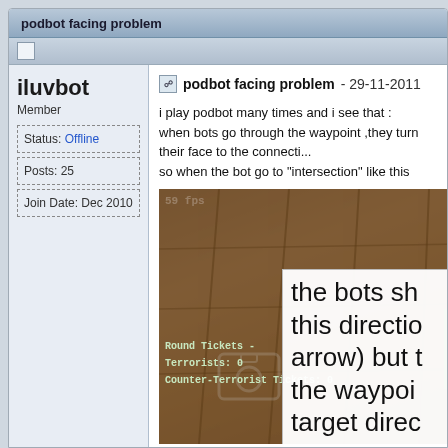podbot facing problem
podbot facing problem - 29-11-2011
iluvbot
Member
Status: Offline
Posts: 25
Join Date: Dec 2010
i play podbot many times and i see that :
when bots go through the waypoint ,they turn their face to the connection
so when the bot go to "intersection" like this
[Figure (screenshot): Game screenshot showing a Counter-Strike style game environment with brown/wooden walls, displaying '59 fps' in top left, and HUD text showing 'Round Tickets - Terrorists: 0' and 'Counter-Terrorist Tickets: 0'. An overlay text box reads 'the bots sh... this directio... arrow) but t... the waypoi... target direc... go to']